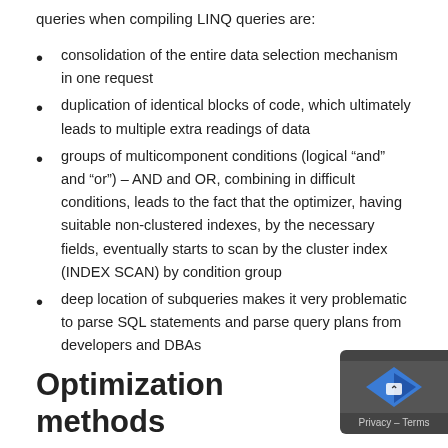queries when compiling LINQ queries are:
consolidation of the entire data selection mechanism in one request
duplication of identical blocks of code, which ultimately leads to multiple extra readings of data
groups of multicomponent conditions (logical “and” and “or”) – AND and OR, combining in difficult conditions, leads to the fact that the optimizer, having suitable non-clustered indexes, by the necessary fields, eventually starts to scan by the cluster index (INDEX SCAN) by condition group
deep location of subqueries makes it very problematic to parse SQL statements and parse query plans from developers and DBAs
Optimization methods